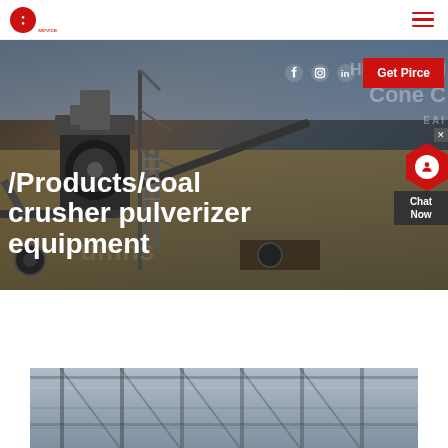[Figure (screenshot): Website header with red logo circle and hamburger menu icon]
[Figure (photo): Industrial coal crusher and conveyor machinery at a mining/processing facility, hero banner image with overlay text]
/Products/coal crusher pulverizer equipment
[Figure (screenshot): Social media icons (Facebook, Instagram, LinkedIn) and red Get Pirce CTA button overlay on hero image]
[Figure (photo): Bottom strip showing structural steel/industrial building interior]